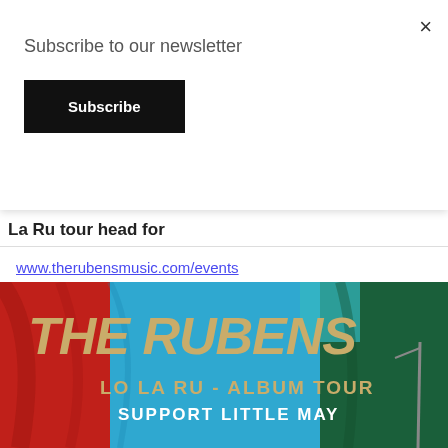Subscribe to our newsletter
Subscribe
×
La Ru tour head for
www.therubensmusic.com/events
[Figure (photo): The Rubens Lo La Ru Album Tour concert poster with band name in large gold italic letters on a colorful flag background (red, blue, green). Text reads: THE RUBENS, LO LA RU - ALBUM TOUR, SUPPORT LITTLE MAY]